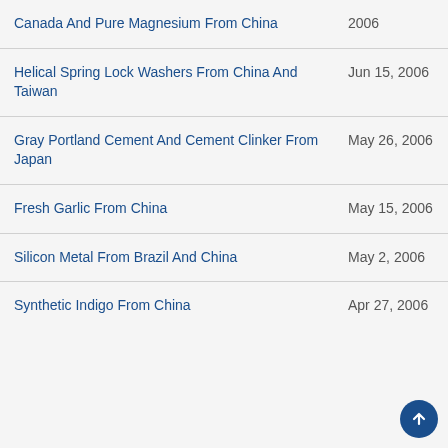Canada And Pure Magnesium From China
Helical Spring Lock Washers From China And Taiwan
Gray Portland Cement And Cement Clinker From Japan
Fresh Garlic From China
Silicon Metal From Brazil And China
Synthetic Indigo From China